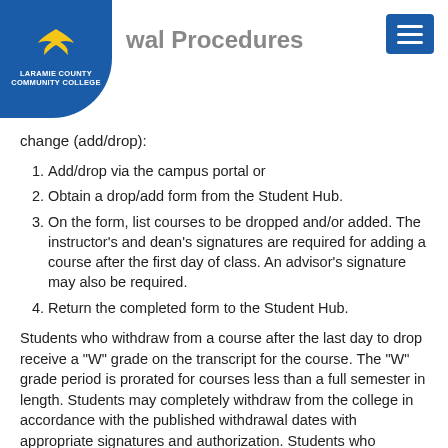Laramie County Community College — Withdrawal Procedures
change (add/drop):
Add/drop via the campus portal or
Obtain a drop/add form from the Student Hub.
On the form, list courses to be dropped and/or added. The instructor's and dean's signatures are required for adding a course after the first day of class. An advisor's signature may also be required.
Return the completed form to the Student Hub.
Students who withdraw from a course after the last day to drop receive a "W" grade on the transcript for the course. The "W" grade period is prorated for courses less than a full semester in length. Students may completely withdraw from the college in accordance with the published withdrawal dates with appropriate signatures and authorization. Students who completely withdraw from all courses are required to meet with an Academic Advisor and consult the Student Hub with regard to Financial Aid.